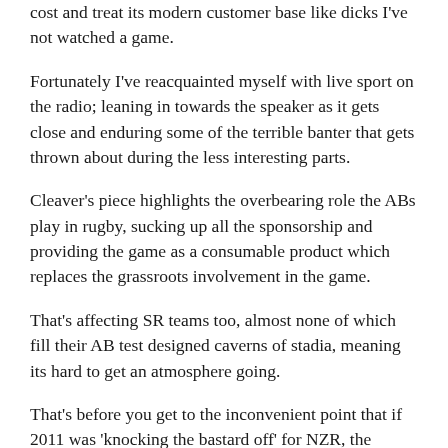cost and treat its modern customer base like dicks I've not watched a game.
Fortunately I've reacquainted myself with live sport on the radio; leaning in towards the speaker as it gets close and enduring some of the terrible banter that gets thrown about during the less interesting parts.
Cleaver's piece highlights the overbearing role the ABs play in rugby, sucking up all the sponsorship and providing the game as a consumable product which replaces the grassroots involvement in the game.
That's affecting SR teams too, almost none of which fill their AB test designed caverns of stadia, meaning its hard to get an atmosphere going.
That's before you get to the inconvenient point that if 2011 was 'knocking the bastard off' for NZR, the subsequent dominance, and packaging and promotion of that dominance, has turned the All Blacks into the bastard that others try to knock off. The narrative of an uber dominant team that keeps